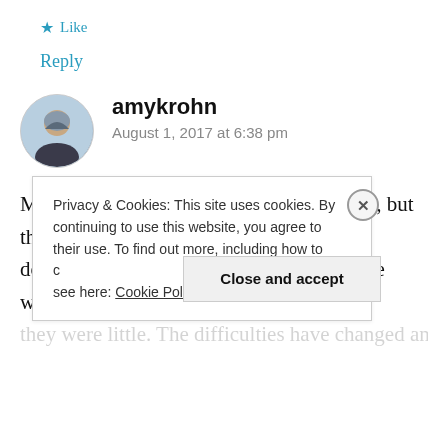★ Like
Reply
amykrohn
August 1, 2017 at 6:38 pm
My three kids are a little older (9, 8 and 7), but that doesn't mean they are easier than they were when
Privacy & Cookies: This site uses cookies. By continuing to use this website, you agree to their use. To find out more, including how to control cookies, see here: Cookie Policy
Close and accept